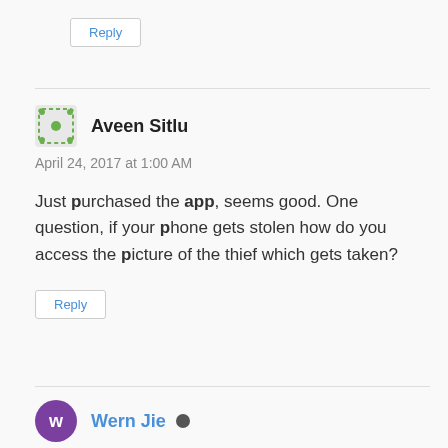Reply
Aveen Sitlu
April 24, 2017 at 1:00 AM
Just purchased the app, seems good. One question, if your phone gets stolen how do you access the picture of the thief which gets taken?
Reply
Wern Jie